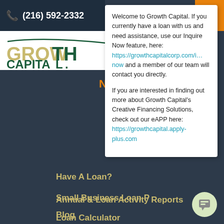(216) 592-2332
[Figure (logo): Growth Capital Corp logo with green and gold text on white background]
Welcome to Growth Capital. If you currently have a loan with us and need assistance, use our Inquire Now feature, here: https://growthcapitalcorp.com/i…now and a member of our team will contact you directly.
If you are interested in finding out more about Growth Capital's Creative Financing Solutions, check out our eAPP here: https://growthcapital.apply-plus.com
Have A Loan?
Small Business Loan P…
Loan Calculator
Community
Small Business Resou…
Annual & Loan Activity Reports
Blog
Our History